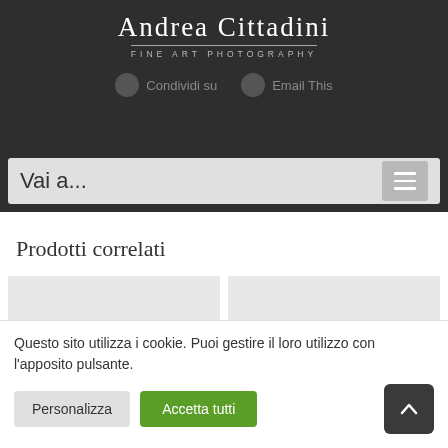Andrea Cittadini
FINE ART PHOTOGRAPHY
Condividi su   Email This
Vai a...
Prodotti correlati
[Figure (photo): Two product thumbnail images side by side, light gray placeholders]
Questo sito utilizza i cookie. Puoi gestire il loro utilizzo con l'apposito pulsante.
Personalizza   Accetta tutti